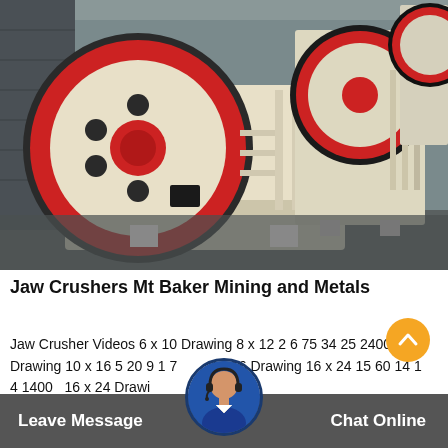[Figure (photo): Multiple large industrial jaw crushers with cream/beige metal bodies, large red and black flywheel discs visible, photographed indoors in a warehouse or factory setting. Several units lined up in a row.]
Jaw Crushers Mt Baker Mining and Metals
Jaw Crusher Videos 6 x 10 Drawing 8 x 12 2 6 75 34 25 2400 12 Drawing 10 x 16 5 20 9 1 7 0 x 16 Drawing 16 x 24 15 60 14 1 4 14000 16 x 24 Drawing
Leave Message    Chat Online